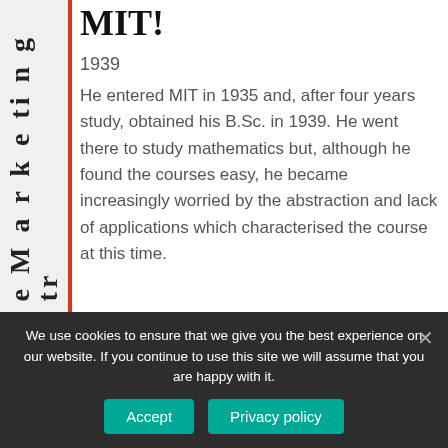MIT!
1939
He entered MIT in 1935 and, after four years study, obtained his B.Sc. in 1939. He went there to study mathematics but, although he found the courses easy, he became increasingly worried by the abstraction and lack of applications which characterised the course at this time.
n e M a r k e ti n g S tr
We use cookies to ensure that we give you the best experience on our website. If you continue to use this site we will assume that you are happy with it.